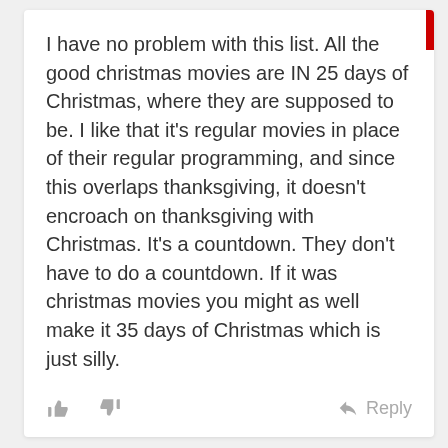I have no problem with this list. All the good christmas movies are IN 25 days of Christmas, where they are supposed to be. I like that it's regular movies in place of their regular programming, and since this overlaps thanksgiving, it doesn't encroach on thanksgiving with Christmas. It's a countdown. They don't have to do a countdown. If it was christmas movies you might as well make it 35 days of Christmas which is just silly.
👍 👎 ↩ Reply
Lona
November 6, 2014 at 3:54 AM